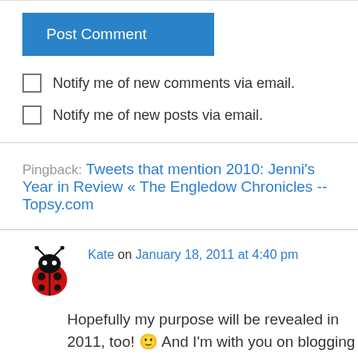[Figure (screenshot): Post Comment button (blue rectangle with white text)]
Notify me of new comments via email.
Notify me of new posts via email.
Pingback: Tweets that mention 2010: Jenni's Year in Review « The Engledow Chronicles -- Topsy.com
Kate on January 18, 2011 at 4:40 pm
Hopefully my purpose will be revealed in 2011, too! 🙂 And I'm with you on blogging resolutions for the coming year — I'm really hoping to become moderately interesting on a consistent